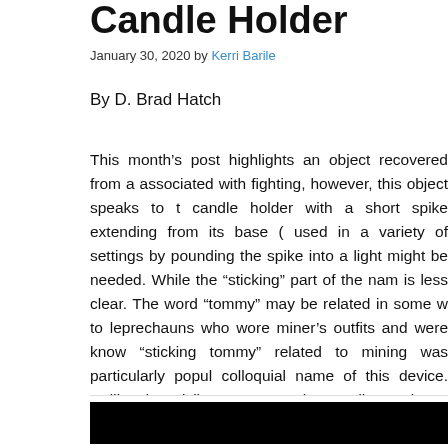Candle Holder
January 30, 2020 by Kerri Barile
By D. Brad Hatch
This month's post highlights an object recovered from a associated with fighting, however, this object speaks to the candle holder with a short spike extending from its base ( used in a variety of settings by pounding the spike into a light might be needed. While the “sticking” part of the name is less clear. The word “tommy” may be related in some way to leprechauns who wore miner’s outfits and were known “sticking tommy” related to mining was particularly popular colloquial name of this device. Unlike the Civil War example the candle to sit out further from the wall in addition to some (Figure 2).
[Figure (photo): Black image area at bottom of page, partial view of a candle holder photograph]